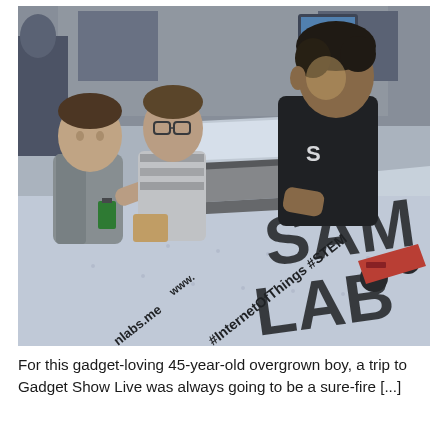[Figure (photo): Three boys gathered around a laptop on a table covered with a large banner reading 'SAM LAB' with hashtags '#InternetOfThings #STEM' and 'nlabs.me'. A small wheeled robot vehicle with a red body sits on the table to the right. An older teen or young adult in a black t-shirt operates the laptop while two younger boys watch. The setting appears to be an exhibition or maker fair booth.]
For this gadget-loving 45-year-old overgrown boy, a trip to Gadget Show Live was always going to be a sure-fire [...]